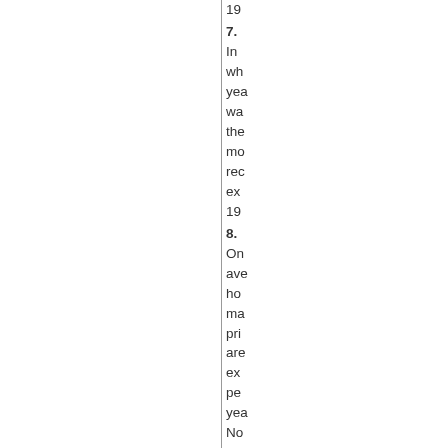19...
7.
In wh yea wa the mo rec ex 19...
8.
On ave ho ma pri are ex pe yea No 0.